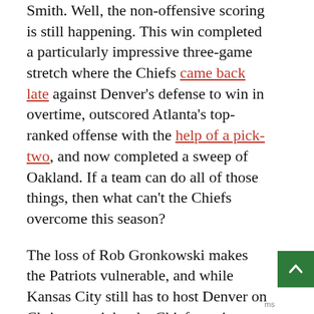Smith. Well, the non-offensive scoring is still happening. This win completed a particularly impressive three-game stretch where the Chiefs came back late against Denver's defense to win in overtime, outscored Atlanta's top-ranked offense with the help of a pick-two, and now completed a sweep of Oakland. If a team can do all of those things, then what can't the Chiefs overcome this season?
The loss of Rob Gronkowski makes the Patriots vulnerable, and while Kansas City still has to host Denver on Christmas night, the Chiefs are in good position for a first-round bye and home playoff game. This is looking like the best team Andy Reid has had in his four years in Kansas City, and we should be considering the Chiefs as a legitimate Super Bowl contender.